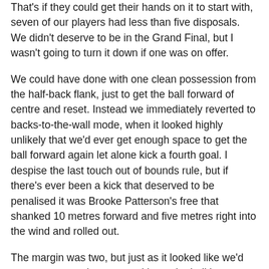That's if they could get their hands on it to start with, seven of our players had less than five disposals. We didn't deserve to be in the Grand Final, but I wasn't going to turn it down if one was on offer.
We could have done with one clean possession from the half-back flank, just to get the ball forward of centre and reset. Instead we immediately reverted to backs-to-the-wall mode, when it looked highly unlikely that we'd ever get enough space to get the ball forward again let alone kick a fourth goal. I despise the last touch out of bounds rule, but if there's ever been a kick that deserved to be penalised it was Brooke Patterson's free that shanked 10 metres forward and five metres right into the wind and rolled out.
The margin was two, but just as it looked like we'd never get enough space and keep the ball long enough without giving the Dogs time to stick 16 players into the defensive 50, my old mate Newman almost accidentally hit Hore for a set shot 20 metres out almost directly in front. Given the circumstances, and a couple of other wacky set shots this year I didn't have any faith in her converting, but fooding off...